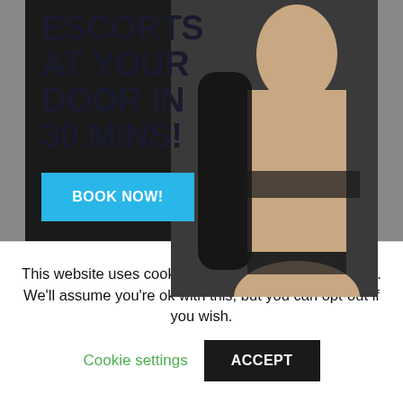[Figure (illustration): Advertisement banner with bold text 'ESCORTS AT YOUR DOOR IN 30 MINS!' on dark background with a 'BOOK NOW!' cyan button, and a photo of a woman in lingerie on the right side.]
TOP 10 THE LAST 24 HOURS
This website uses cookies to improve your experience. We'll assume you're ok with this, but you can opt-out if you wish.
Cookie settings
ACCEPT